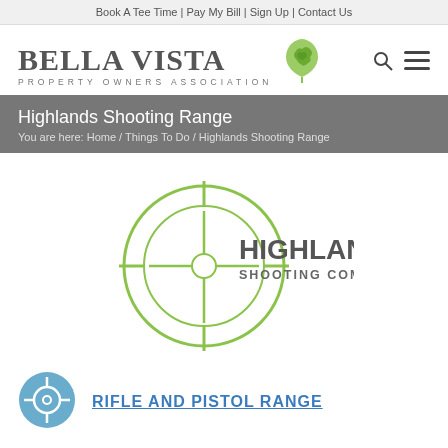Book A Tee Time | Pay My Bill | Sign Up | Contact Us
[Figure (logo): Bella Vista Property Owners Association logo with oak leaf icon]
Highlands Shooting Range
You are here:  Home  /  Things To Do  /  Highlands Shooting Range
[Figure (logo): Highlands Shooting Complex logo — crosshair/target circle with text HIGHLANDS SHOOTING COMPLEX]
[Figure (logo): Blue circle crosshair icon]
RIFLE AND PISTOL RANGE